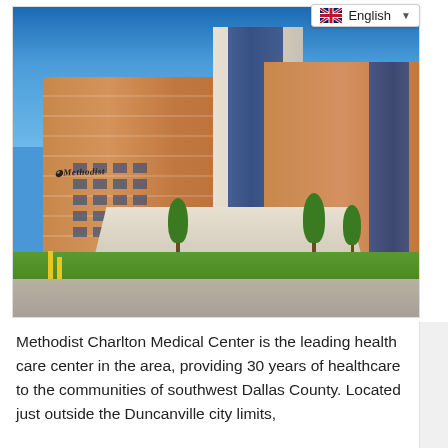[Figure (photo): Exterior photograph of Methodist Charlton Medical Center, a large multi-story hospital building with brick and glass facade under a clear blue sky, featuring a covered entrance canopy and landscaped grounds.]
Methodist Charlton Medical Center is the leading health care center in the area, providing 30 years of healthcare to the communities of southwest Dallas County. Located just outside the Duncanville city limits,